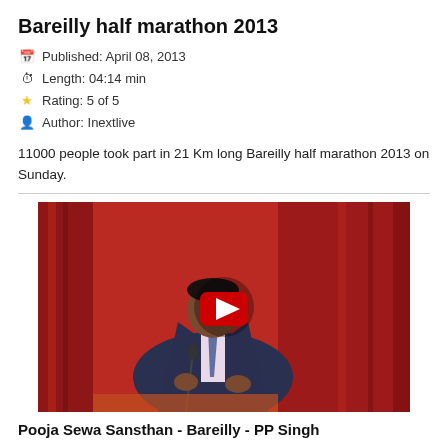Bareilly half marathon 2013
Published: April 08, 2013
Length: 04:14 min
Rating: 5 of 5
Author: Inextlive
11000 people took part in 21 Km long Bareilly half marathon 2013 on Sunday.
[Figure (photo): Video thumbnail showing a man in a dark suit speaking at a podium with red curtains in the background. A red YouTube play button overlay is visible in the center.]
Pooja Sewa Sansthan - Bareilly - PP Singh